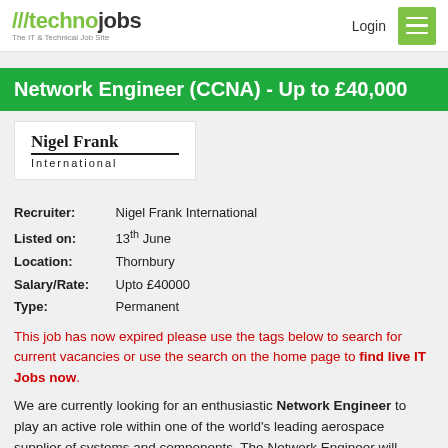///technojobs  The IT & Technical Job Site  Login
Network Engineer (CCNA) - Up to £40,000
[Figure (logo): Nigel Frank International logo — bold serif text 'Nigel Frank' with underline, below 'International' in small spaced sans-serif]
Recruiter: Nigel Frank International
Listed on: 13th June
Location: Thornbury
Salary/Rate: Upto £40000
Type: Permanent
This job has now expired please use the tags below to search for current vacancies or use the search on the home page to find live IT Jobs now.
We are currently looking for an enthusiastic Network Engineer to play an active role within one of the world's leading aerospace supplier of systems and components. The Network Engineer will become a member of a network infrastructure team that maintains and supports the company's